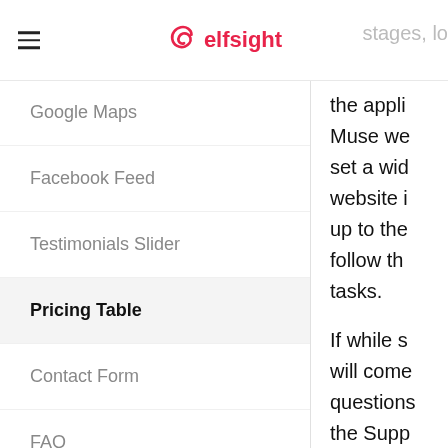elfsight
Google Maps
Facebook Feed
Testimonials Slider
Pricing Table
Contact Form
FAQ
Form Builder
Twitter Feed
Countdown Timer
the appli Muse we set a wid website i up to the follow th tasks.
If while s will come questions the Supp
Step 1: R the wid